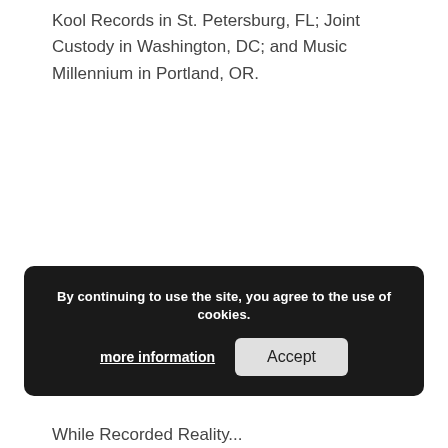Kool Records in St. Petersburg, FL; Joint Custody in Washington, DC; and Music Millennium in Portland, OR.
By continuing to use the site, you agree to the use of cookies.
more information   Accept
While Recorded Reality...